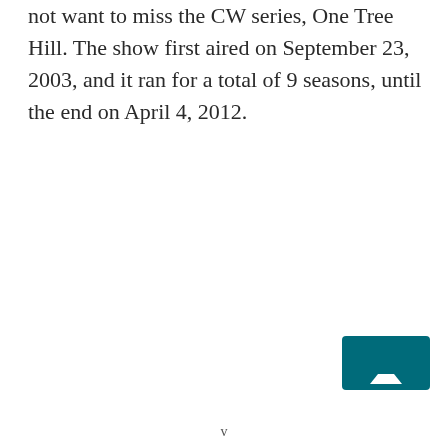not want to miss the CW series, One Tree Hill. The show first aired on September 23, 2003, and it ran for a total of 9 seasons, until the end on April 4, 2012.
[Figure (other): Teal/dark cyan navigation button with an upward-pointing triangle arrow icon]